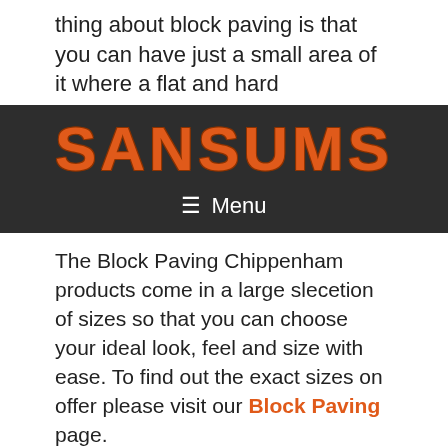thing about block paving is that you can have just a small area of it where a flat and hard
[Figure (logo): SANSUMS logo in distressed orange text on dark background with Menu navigation bar]
The Block Paving Chippenham products come in a large slecetion of sizes so that you can choose your ideal look, feel and size with ease. To find out the exact sizes on offer please visit our Block Paving page.
The Benefits of Block Paving your Garden?